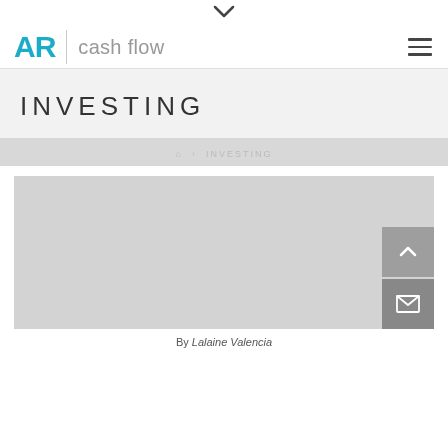AR cash flow
INVESTING
HOME > INVESTING
[Figure (photo): Grey placeholder image for article thumbnail]
By Lalaine Valencia